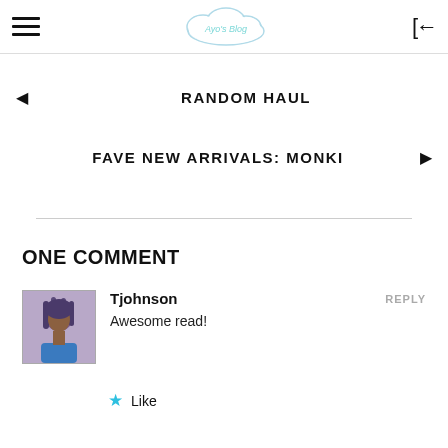Ayo's Blog (logo cloud)
◄  RANDOM HAUL
FAVE NEW ARRIVALS: MONKI  ►
ONE COMMENT
Tjohnson
Awesome read!
★ Like